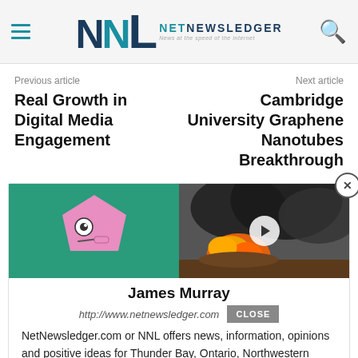NetNewsLedger — News at the speed of the Internet
Previous article
Real Growth in Digital Media Engagement
Next article
Cambridge University Graphene Nanotubes Breakthrough
[Figure (screenshot): Popup card with cartoon character image on green background (left) and fire/smoke video thumbnail with play button (right), close X button top-right.]
James Murray
http://www.netnewsledger.com
NetNewsledger.com or NNL offers news, information, opinions and positive ideas for Thunder Bay, Ontario, Northwestern Ontario and